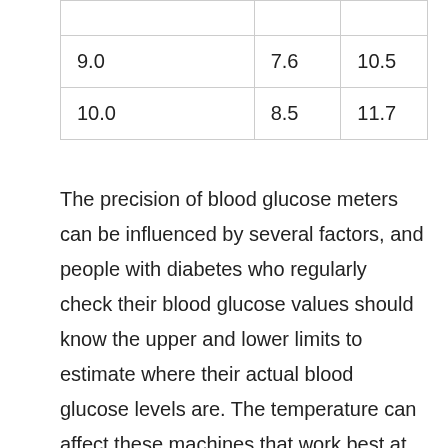|  |  |  |
| 9.0 | 7.6 | 10.5 |
| 10.0 | 8.5 | 11.7 |
The precision of blood glucose meters can be influenced by several factors, and people with diabetes who regularly check their blood glucose values should know the upper and lower limits to estimate where their actual blood glucose levels are. The temperature can affect these machines that work best at room temperature. Your healthcare professional may then use this information to improve your